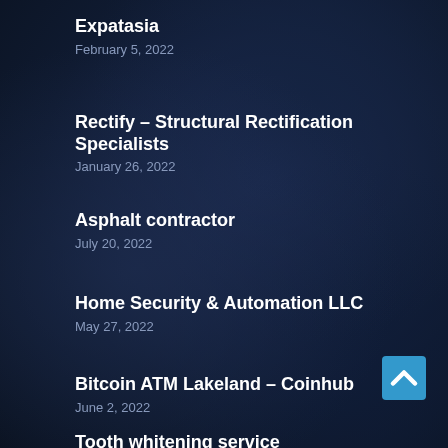Expatasia
February 5, 2022
Rectify – Structural Rectification Specialists
January 26, 2022
Asphalt contractor
July 20, 2022
Home Security & Automation LLC
May 27, 2022
Bitcoin ATM Lakeland – Coinhub
June 2, 2022
Tooth whitening service